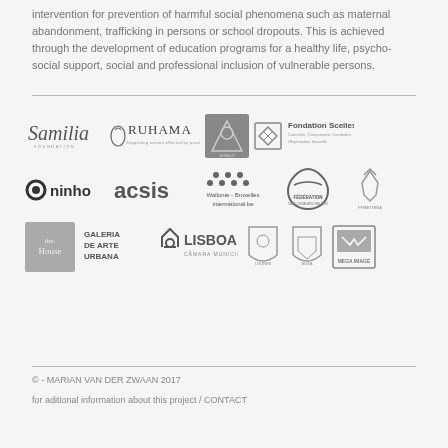intervention for prevention of harmful social phenomena such as maternal abandonment, trafficking in persons or school dropouts. This is achieved through the development of education programs for a healthy life, psycho-social support, social and professional inclusion of vulnerable persons.
[Figure (logo): Partner organization logos: Samilia Foundation, Ruhama, Animus Association, Fondation Scelles, oninho, acsis, Wallonie-Bruxelles international.be, Fédération Wallonie-Bruxelles, Phimotera, The House, Galeria de Arte Urbana, Lisboa Câmara Municipal, coat of arms logos, Mega Image]
© - MARIAN VAN DER ZWAAN 2017

for aditional information about this project / CONTACT